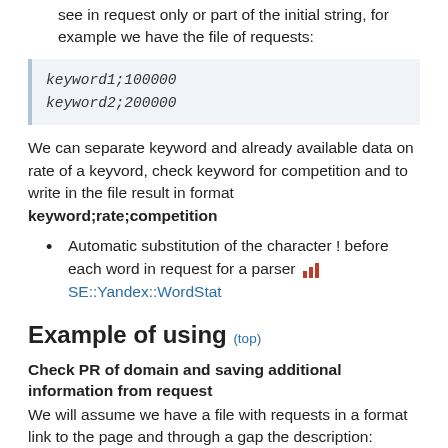see in request only or part of the initial string, for example we have the file of requests:
keyword1;100000
keyword2;200000
We can separate keyword and already available data on rate of a keyvord, check keyword for competition and to write in the file result in format keyword;rate;competition
Automatic substitution of the character ! before each word in request for a parser SE::Yandex::WordStat
Example of using (top)
Check PR of domain and saving additional information from request
We will assume we have a file with requests in a format link to the page and through a gap the description:
http://gofuckbiz.com/showthread.php?t=30454&page=11 Форум GoFuckBiz.com